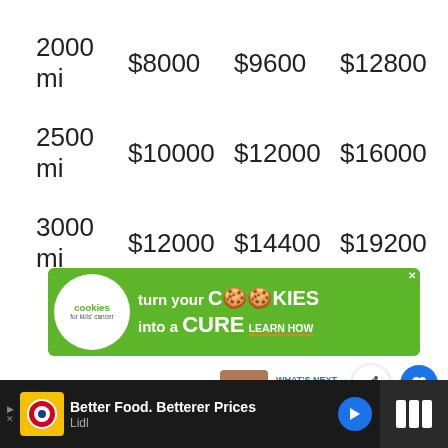| 2000 mi | $8000 | $9600 | $12800 |
| 2500 mi | $10000 | $12000 | $16000 |
| 3000 mi | $12000 | $14400 | $19200 |
[Figure (infographic): Advertisement banner: 'turn your COOKIES into a CURE LEARN HOW' by Cookies for Kids' Cancer, green background with white cookie logo circle]
[Figure (infographic): Bottom advertisement bar: Lidl 'Better Food. Betterer Prices' on dark background with yellow Lidl logo icon and blue direction arrow]